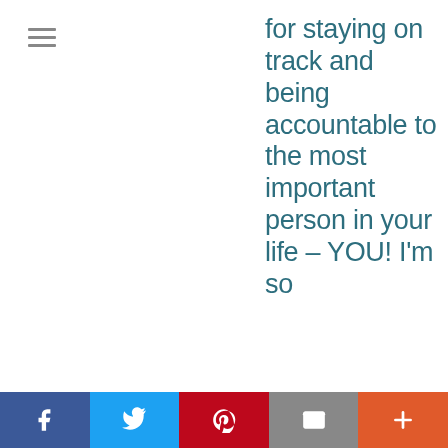[Figure (other): Hamburger/menu icon with three horizontal lines]
for staying on track and being accountable to the most important person in your life – YOU! I'm so
Social share bar: Facebook, Twitter, Pinterest, Email, Plus